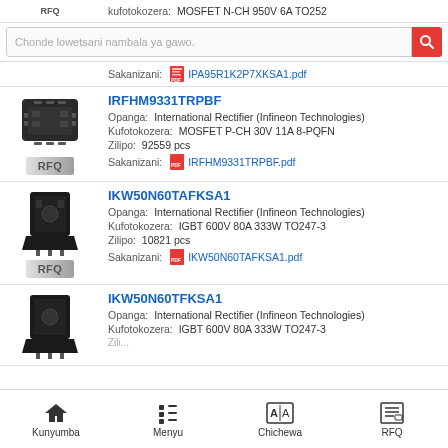kufotokozera: MOSFET N-CH 950V 6A TO252
[Figure (screenshot): Search bar with placeholder text 'Chonde lowetsani nambala ya gawo.' and red search button]
Sakanizani: IPA95R1K2P7XKSA1.pdf
IRFHM9331TRPBF
Opanga: International Rectifier (Infineon Technologies)
Kufotokozera: MOSFET P-CH 30V 11A 8-PQFN
Zilipo: 92559 pcs
Sakanizani: IRFHM9331TRPBF.pdf
IKW50N60TAFKSA1
Opanga: International Rectifier (Infineon Technologies)
Kufotokozera: IGBT 600V 80A 333W TO247-3
Zilipo: 10821 pcs
Sakanizani: IKW50N60TAFKSA1.pdf
IKW50N60TFKSA1
Opanga: International Rectifier (Infineon Technologies)
Kufotokozera: IGBT 600V 80A 333W TO247-3
Zilipo: 11848
Kunyumba  Menyu  Chichewa  RFQ